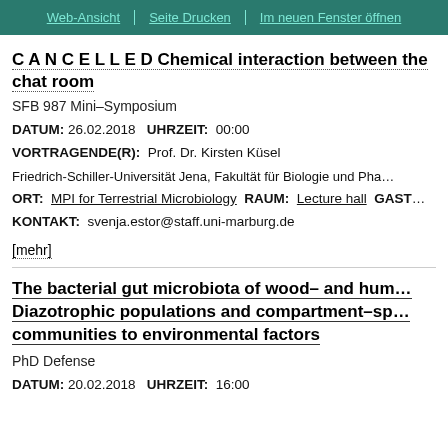Web-Ansicht | Seite Drucken | Im neuen Fenster öffnen
C A N C E L L E D Chemical interaction between ... the chat room
SFB 987 Mini–Symposium
DATUM: 26.02.2018  UHRZEIT: 00:00
VORTRAGENDE(R): Prof. Dr. Kirsten Küsel
Friedrich-Schiller-Universität Jena, Fakultät für Biologie und Pha…
ORT: MPI for Terrestrial Microbiology  RAUM: Lecture hall  GAST…
KONTAKT: svenja.estor@staff.uni-marburg.de
[mehr]
The bacterial gut microbiota of wood– and hum… Diazotrophic populations and compartment–sp… communities to environmental factors
PhD Defense
DATUM: 20.02.2018  UHRZEIT: 16:00